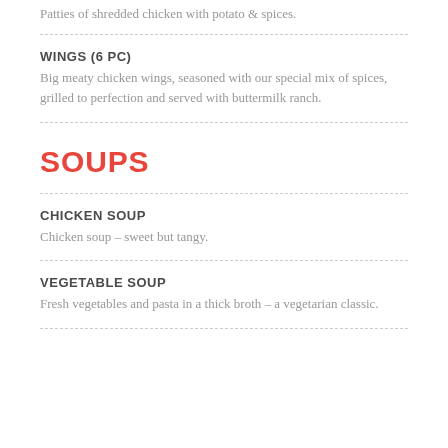Patties of shredded chicken with potato & spices.
WINGS (6 PC)
Big meaty chicken wings, seasoned with our special mix of spices, grilled to perfection and served with buttermilk ranch.
SOUPS
CHICKEN SOUP
Chicken soup – sweet but tangy.
VEGETABLE SOUP
Fresh vegetables and pasta in a thick broth – a vegetarian classic.